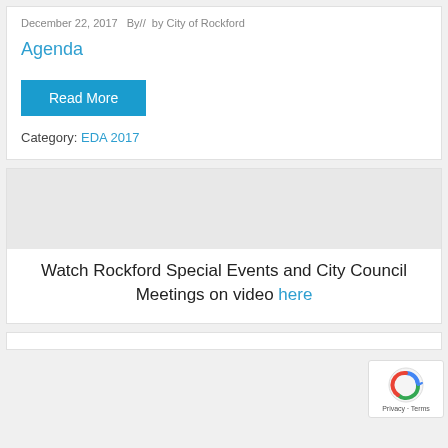December 22, 2017  By//  by City of Rockford
Agenda
Read More
Category: EDA 2017
Watch Rockford Special Events and City Council Meetings on video here